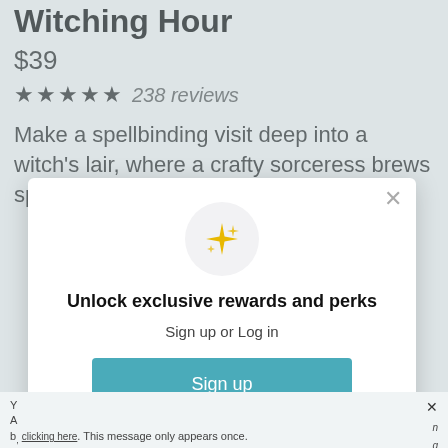Witching Hour
$39
★★★★★ 238 reviews
Make a spellbinding visit deep into a witch's lair, where a crafty sorceress brews spells, conjures spirits and
[Figure (screenshot): Modal popup with sparkle icon, headline 'Unlock exclusive rewards and perks', subtext 'Sign up or Log in', Sign up button, and sign in link]
Already have an account? Sign in